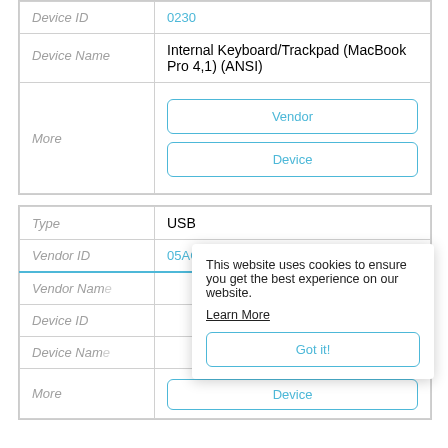| Device ID | 0230 |
| Device Name | Internal Keyboard/Trackpad (MacBook Pro 4,1) (ANSI) |
| More | Vendor | Device |
| Type | USB |
| Vendor ID | 05AC |
| Vendor Name | Apple, Inc. |
| Device ID |  |
| Device Name |  |
| More | Vendor | Device |
This website uses cookies to ensure you get the best experience on our website.
Learn More
Got it!